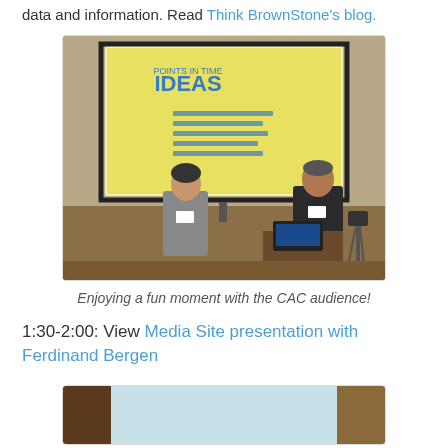data and information. Read Think BrownStone's blog.
[Figure (photo): Two men standing in front of a projection screen showing an 'IDEAS' presentation in a conference room setting]
Enjoying a fun moment with the CAC audience!
1:30-2:00: View Media Site presentation with Ferdinand Bergen
[Figure (photo): Partial view of another presentation or video screenshot]